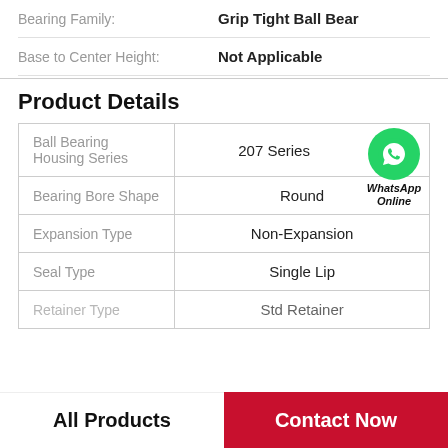| Bearing Family: | Grip Tight Ball Bear |
| Base to Center Height: | Not Applicable |
Product Details
| Ball Bearing Housing Series | 207 Series |
| --- | --- |
| Bearing Bore Shape | Round |
| Expansion Type | Non-Expansion |
| Seal Type | Single Lip |
| Retainer Type | Std Retainer |
All Products | Contact Now